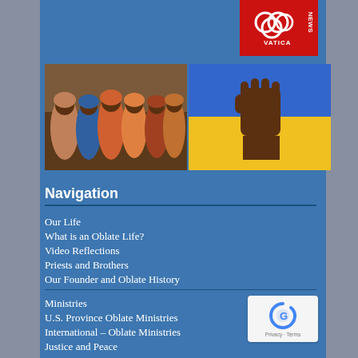[Figure (logo): Vatican News logo — red and white with papal keys emblem]
[Figure (photo): Two side-by-side photos: left shows a group of African women in colorful clothing; right shows a fist raised against a blue and yellow Ukrainian flag background]
Navigation
Our Life
What is an Oblate Life?
Video Reflections
Priests and Brothers
Our Founder and Oblate History
Ministries
U.S. Province Oblate Ministries
International – Oblate Ministries
Justice and Peace
Support Our Mission
Mission with Youth
Partnering with Laity
Navigation